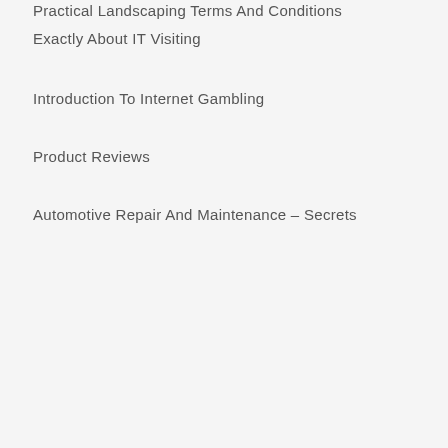Practical Landscaping Terms And Conditions
Exactly About IT Visiting
Introduction To Internet Gambling
Product Reviews
Automotive Repair And Maintenance – Secrets